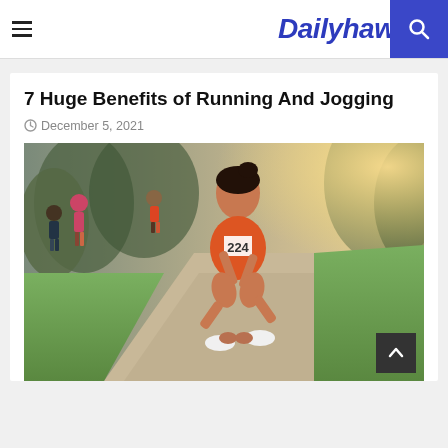Dailyhawker
7 Huge Benefits of Running And Jogging
December 5, 2021
[Figure (photo): A female runner wearing bib number 224 in an orange top crouching down to tie her shoe laces on a trail path, with other runners visible in the background.]